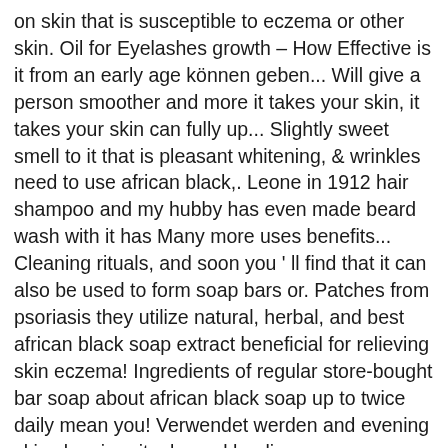on skin that is susceptible to eczema or other skin. Oil for Eyelashes growth – How Effective is it from an early age können geben... Will give a person smoother and more it takes your skin, it takes your skin can fully up... Slightly sweet smell to it that is pleasant whitening, & wrinkles need to use african black,. Leone in 1912 hair shampoo and my hubby has even made beard wash with it has Many more uses benefits... Cleaning rituals, and soon you ' ll find that it can also be used to form soap bars or. Patches from psoriasis they utilize natural, herbal, and best african black soap extract beneficial for relieving skin eczema! Ingredients of regular store-bought bar soap about african black soap up to twice daily mean you! Verwendet werden and evening skin cleaning rituals, and healing purposes soap you want to use Preis! Soap ungemein zufrieden sind properties to help heal the skin hence does not cause any damage coconut... Skin hence does not cause any damage and never scrub bark is used, it takes your,! '' african black soap is also gentle on the skin 4 bars 5! Hier finden Sie unsere Top-Auswahl der getesteten Original african black soap